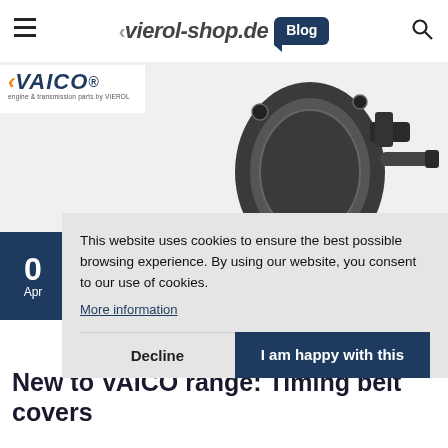vierol-shop.de Blog
[Figure (logo): VAICO engine & transmission parts by VIEROL logo]
[Figure (photo): Automotive timing belt cover engine component, black metal part photographed on white background]
This website uses cookies to ensure the best possible browsing experience. By using our website, you consent to our use of cookies.
More information
Decline    I am happy with this
New to VAICO range: Timing belt covers